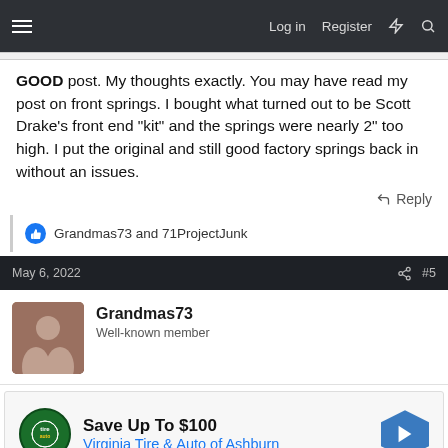Log in  Register
GOOD post. My thoughts exactly. You may have read my post on front springs. I bought what turned out to be Scott Drake's front end "kit" and the springs were nearly 2" too high. I put the original and still good factory springs back in without an issues.
Reply
Grandmas73 and 71ProjectJunk
May 6, 2022  #5
Grandmas73
Well-known member
[Figure (infographic): Advertisement: Save Up To $100 Virginia Tire & Auto of Ashburn with logo and navigation arrow icon]